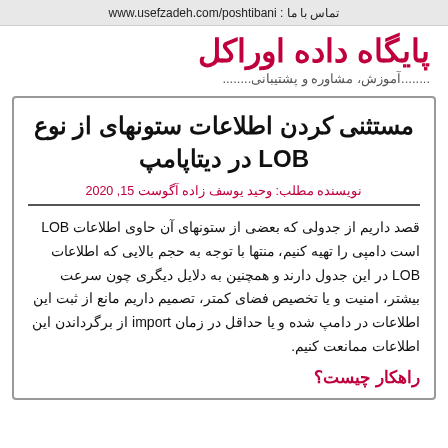تماس با ما : www.usefzadeh.com/poshtibani
پایگاه داده اوراکل
........آموزش، مشاوره و پشتیبانی........
مستثنی کردن اطلاعات ستونهای از نوع LOB در دیتاپامپ
نویسنده مطلب: وحید یوسف زاده آگوست 15, 2020
قصد داریم از جدولی که بعضی از ستونهای آن حاوی اطلاعات LOB است دامپی را تهیه کنیم، منتها با توجه به حجم بالایی که اطلاعات LOB در این جدول دارند و همچنین به دلایل دیگری چون سرعت بیشتر، امنیت و یا تخصیص فضای کمتر، تصمیم داریم مانع از ثبت این اطلاعات در دامپ شده و یا حداقل در زمان import از برگرداندن این اطلاعات ممانعت کنیم.
راهکار چیست؟